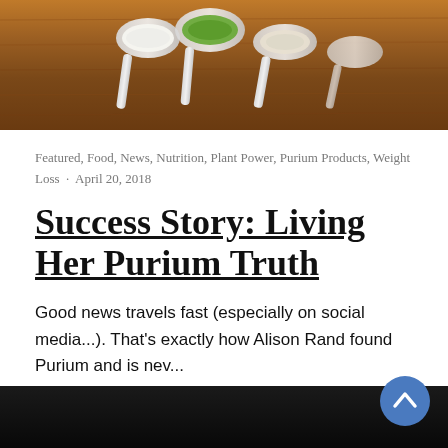[Figure (photo): Photo of measuring spoons with green and white powders on a wooden surface, partially visible at top of page]
Featured, Food, News, Nutrition, Plant Power, Purium Products, Weight Loss · April 20, 2018
Success Story: Living Her Purium Truth
Good news travels fast (especially on social media...). That's exactly how Alison Rand found Purium and is nev...
Leave a Comment
[Figure (photo): Dark background image partially visible at bottom of page]
[Figure (other): Blue circular scroll-to-top button with upward arrow chevron]